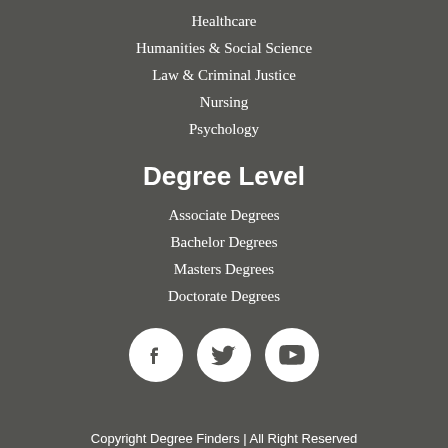Healthcare
Humanities & Social Science
Law & Criminal Justice
Nursing
Psychology
Degree Level
Associate Degrees
Bachelor Degrees
Masters Degrees
Doctorate Degrees
[Figure (illustration): Social media icons: Facebook, Twitter, YouTube in white circles on dark background]
Copyright Degree Finders | All Right Reserved